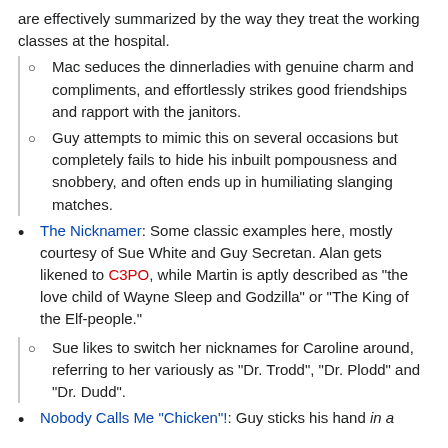are effectively summarized by the way they treat the working classes at the hospital.
Mac seduces the dinnerladies with genuine charm and compliments, and effortlessly strikes good friendships and rapport with the janitors.
Guy attempts to mimic this on several occasions but completely fails to hide his inbuilt pompousness and snobbery, and often ends up in humiliating slanging matches.
The Nicknamer: Some classic examples here, mostly courtesy of Sue White and Guy Secretan. Alan gets likened to C3PO, while Martin is aptly described as "the love child of Wayne Sleep and Godzilla" or "The King of the Elf-people."
Sue likes to switch her nicknames for Caroline around, referring to her variously as "Dr. Trodd", "Dr. Plodd" and "Dr. Dudd".
Nobody Calls Me "Chicken"!: Guy sticks his hand in a